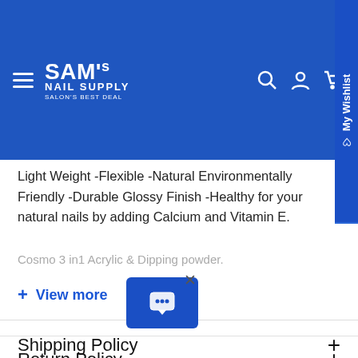[Figure (screenshot): SAM's NAIL SUPPLY navigation bar with hamburger menu, logo, search icon, account icon, and cart icon on blue background]
Light Weight -Flexible -Natural Environmentally Friendly -Durable Glossy Finish -Healthy for your natural nails by adding Calcium and Vitamin E.
Cosmo 3 in1 Acrylic & Dipping powder.
+ View more
Shipping Policy
Return Policy